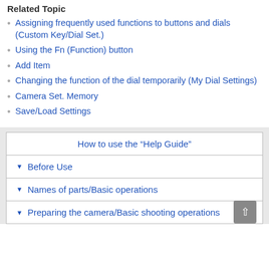Related Topic
Assigning frequently used functions to buttons and dials (Custom Key/Dial Set.)
Using the Fn (Function) button
Add Item
Changing the function of the dial temporarily (My Dial Settings)
Camera Set. Memory
Save/Load Settings
How to use the “Help Guide”
Before Use
Names of parts/Basic operations
Preparing the camera/Basic shooting operations